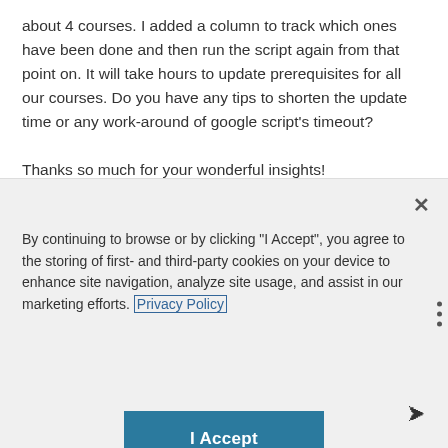about 4 courses. I added a column to track which ones have been done and then run the script again from that point on. It will take hours to update prerequisites for all our courses. Do you have any tips to shorten the update time or any work-around of google script's timeout?

Thanks so much for your wonderful insights!
By continuing to browse or by clicking "I Accept", you agree to the storing of first- and third-party cookies on your device to enhance site navigation, analyze site usage, and assist in our marketing efforts. Privacy Policy
I Accept
Cookies Settings